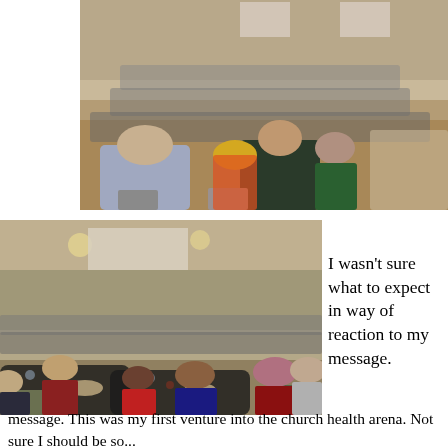[Figure (photo): Large banquet hall filled with people seated at round tables, viewed from the back, with a projector screen visible at the front of the room.]
[Figure (photo): Another view of a large banquet hall filled with people seated at round tables with dark tablecloths, a projection screen visible at the front, taken from a slightly elevated angle.]
I wasn't sure what to expect in way of reaction to my message. This was my first venture into the church health arena. Not sure I should be so...